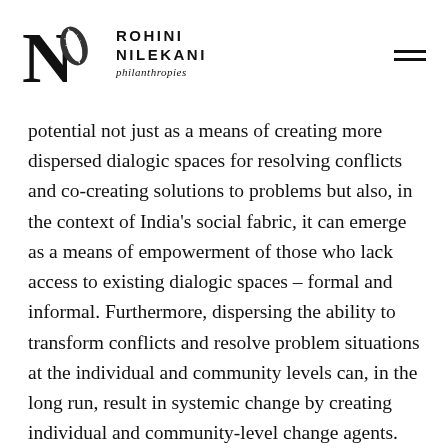Rohini Nilekani Philanthropies
potential not just as a means of creating more dispersed dialogic spaces for resolving conflicts and co-creating solutions to problems but also, in the context of India’s social fabric, it can emerge as a means of empowerment of those who lack access to existing dialogic spaces – formal and informal. Furthermore, dispersing the ability to transform conflicts and resolve problem situations at the individual and community levels can, in the long run, result in systemic change by creating individual and community-level change agents. This then reduces reliance on top-down systemic approaches